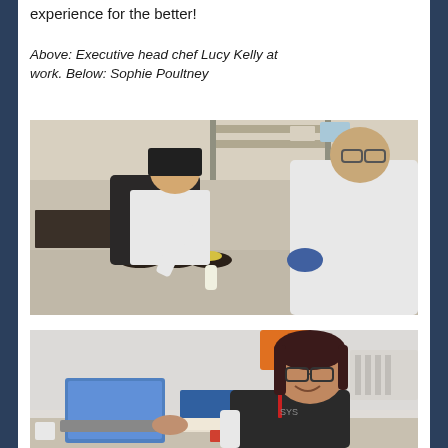experience for the better!
Above: Executive head chef Lucy Kelly at work. Below: Sophie Poultney
[Figure (photo): Executive head chef Lucy Kelly at work in a kitchen, plating dishes with another chef]
[Figure (photo): Sophie Poultney sitting at a desk with a laptop, smiling at the camera]